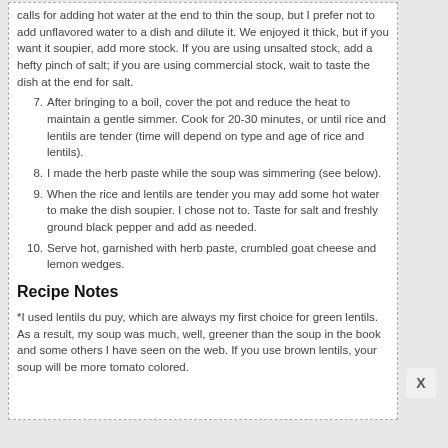calls for adding hot water at the end to thin the soup, but I prefer not to add unflavored water to a dish and dilute it. We enjoyed it thick, but if you want it soupier, add more stock. If you are using unsalted stock, add a hefty pinch of salt; if you are using commercial stock, wait to taste the dish at the end for salt.
7. After bringing to a boil, cover the pot and reduce the heat to maintain a gentle simmer. Cook for 20-30 minutes, or until rice and lentils are tender (time will depend on type and age of rice and lentils).
8. I made the herb paste while the soup was simmering (see below).
9. When the rice and lentils are tender you may add some hot water to make the dish soupier. I chose not to. Taste for salt and freshly ground black pepper and add as needed.
10. Serve hot, garnished with herb paste, crumbled goat cheese and lemon wedges.
Recipe Notes
*I used lentils du puy, which are always my first choice for green lentils. As a result, my soup was much, well, greener than the soup in the book and some others I have seen on the web. If you use brown lentils, your soup will be more tomato colored.